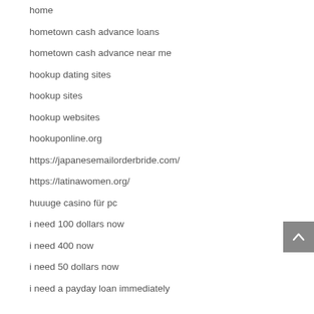home
hometown cash advance loans
hometown cash advance near me
hookup dating sites
hookup sites
hookup websites
hookuponline.org
https://japanesemailorderbride.com/
https://latinawomen.org/
huuuge casino für pc
i need 100 dollars now
i need 400 now
i need 50 dollars now
i need a payday loan immediately